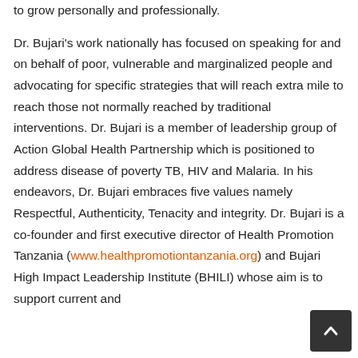to grow personally and professionally.

Dr. Bujari's work nationally has focused on speaking for and on behalf of poor, vulnerable and marginalized people and advocating for specific strategies that will reach extra mile to reach those not normally reached by traditional interventions. Dr. Bujari is a member of leadership group of Action Global Health Partnership which is positioned to address disease of poverty TB, HIV and Malaria. In his endeavors, Dr. Bujari embraces five values namely Respectful, Authenticity, Tenacity and integrity. Dr. Bujari is a co-founder and first executive director of Health Promotion Tanzania (www.healthpromotiontanzania.org) and Bujari High Impact Leadership Institute (BHILI) whose aim is to support current and